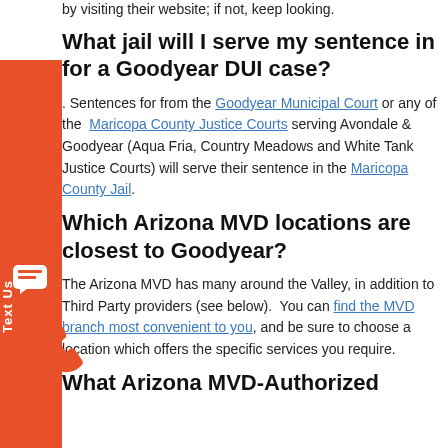by visiting their website; if not, keep looking.
What jail will I serve my sentence in for a Goodyear DUI case?
. Sentences for from the Goodyear Municipal Court or any of the Maricopa County Justice Courts serving Avondale & Goodyear (Aqua Fria, Country Meadows and White Tank Justice Courts) will serve their sentence in the Maricopa County Jail.
Which Arizona MVD locations are closest to Goodyear?
The Arizona MVD has many around the Valley, in addition to Third Party providers (see below). You can find the MVD branch most convenient to you, and be sure to choose a location which offers the specific services you require.
What Arizona MVD-Authorized